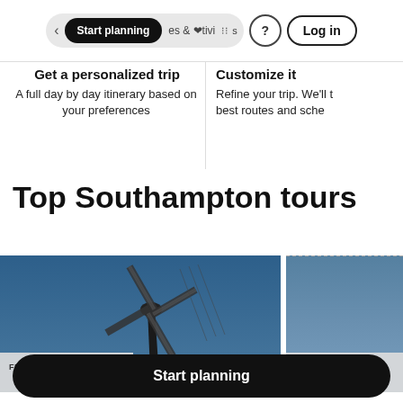Start planning | & activities | ? | Log in
Get a personalized trip
A full day by day itinerary based on your preferences
Customize it
Refine your trip. We'll best routes and sche
Top Southampton tours
[Figure (photo): Tour card showing a windmill against a blue sky with price badge FROM $169]
[Figure (photo): Tour card showing a coastal scene with price badge FROM $500]
Start planning